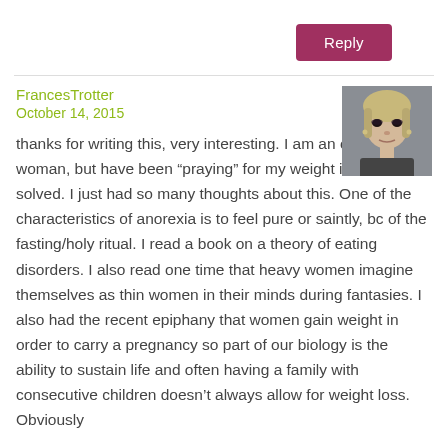Reply
FrancesTrotter
October 14, 2015
[Figure (photo): Avatar photo of FrancesTrotter, a woman with dark eye makeup, light skin, blonde hair pulled back, facing slightly to the side.]
thanks for writing this, very interesting. I am an overweight woman, but have been “praying” for my weight issues to be solved. I just had so many thoughts about this. One of the characteristics of anorexia is to feel pure or saintly, bc of the fasting/holy ritual. I read a book on a theory of eating disorders. I also read one time that heavy women imagine themselves as thin women in their minds during fantasies. I also had the recent epiphany that women gain weight in order to carry a pregnancy so part of our biology is the ability to sustain life and often having a family with consecutive children doesn’t always allow for weight loss. Obviously